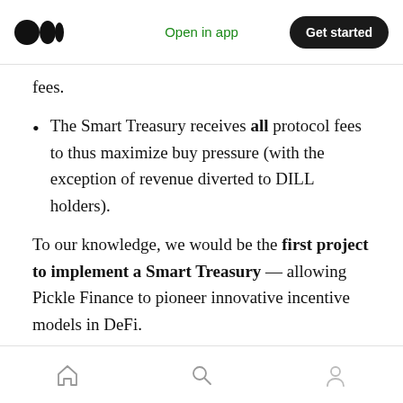Open in app | Get started
fees.
The Smart Treasury receives all protocol fees to thus maximize buy pressure (with the exception of revenue diverted to DILL holders).
To our knowledge, we would be the first project to implement a Smart Treasury — allowing Pickle Finance to pioneer innovative incentive models in DeFi.
Technical Details
Home | Search | Profile